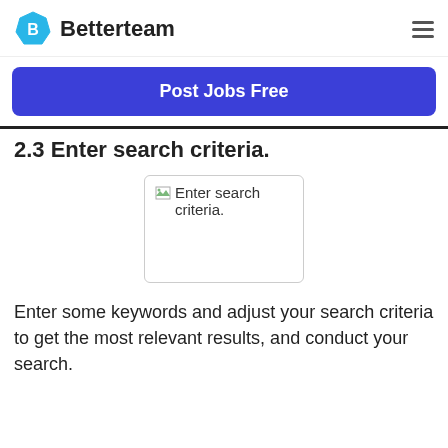Betterteam
Post Jobs Free
2.3 Enter search criteria.
[Figure (screenshot): Broken image placeholder showing 'Enter search criteria.' text]
Enter some keywords and adjust your search criteria to get the most relevant results, and conduct your search.